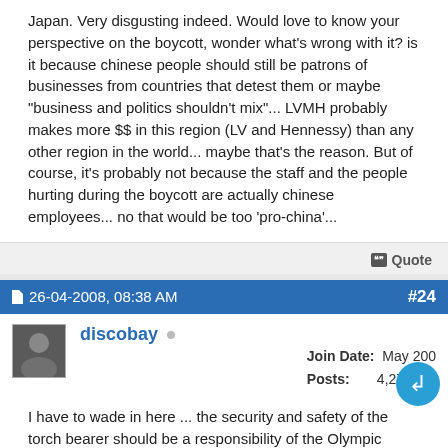Japan. Very disgusting indeed. Would love to know your perspective on the boycott, wonder what's wrong with it? is it because chinese people should still be patrons of businesses from countries that detest them or maybe "business and politics shouldn't mix"... LVMH probably makes more $$ in this region (LV and Hennessy) than any other region in the world... maybe that's the reason. But of course, it's probably not because the staff and the people hurting during the boycott are actually chinese employees... no that would be too 'pro-china'...
Quote
26-04-2008, 08:38 AM  #24
discobay  Join Date: May 200
Posts: 4,279
I have to wade in here ... the security and safety of the torch bearer should be a responsibility of the Olympic Committee and the host country. So Le French f****d up so what? The use of PLA or whatever thugs from your own country to protect the torch bearer (or was it the torch?) just makes you wonder what